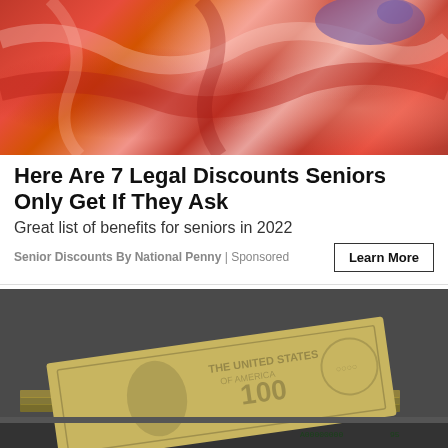[Figure (photo): Close-up photo of raw red meat cuts with a gloved hand handling the meat]
Here Are 7 Legal Discounts Seniors Only Get If They Ask
Great list of benefits for seniors in 2022
Senior Discounts By National Penny | Sponsored
[Figure (photo): Photo of stacks of $100 US dollar bills in a drawer or tray]